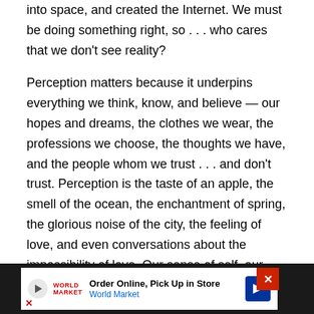into space, and created the Internet. We must be doing something right, so . . . who cares that we don't see reality?
Perception matters because it underpins everything we think, know, and believe — our hopes and dreams, the clothes we wear, the professions we choose, the thoughts we have, and the people whom we trust . . . and don't trust. Perception is the taste of an apple, the smell of the ocean, the enchantment of spring, the glorious noise of the city, the feeling of love, and even conversations about the impossibility of love. Our sense of self, our most essential way of understanding existence, begins and ends with perception. The deat
[Figure (infographic): Advertisement banner: Order Online, Pick Up in Store — World Market, with play button icon, logo, and navigation arrow icon]